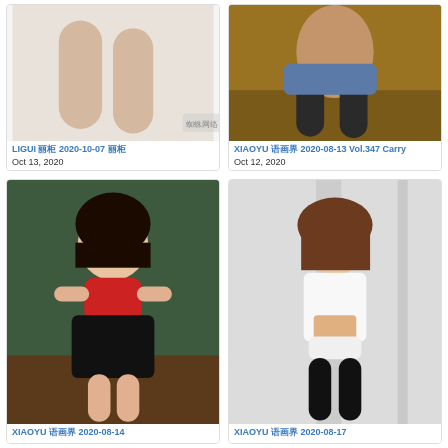[Figure (photo): Photo of a woman's legs in white setting, LIGUI watermark visible]
LIGUI 丽柜 2020-10-07 丽柜
Oct 13, 2020
[Figure (photo): Photo of a woman in denim skirt and black stockings sitting on a surface]
XIAOYU 语画界 2020-08-13 Vol.347 Carry
Oct 12, 2020
[Figure (photo): Photo of a woman in red lingerie against green wall]
XIAOYU 语画界 2020-08-14
[Figure (photo): Photo of a woman in white shirt and black stockings]
XIAOYU 语画界 2020-08-17